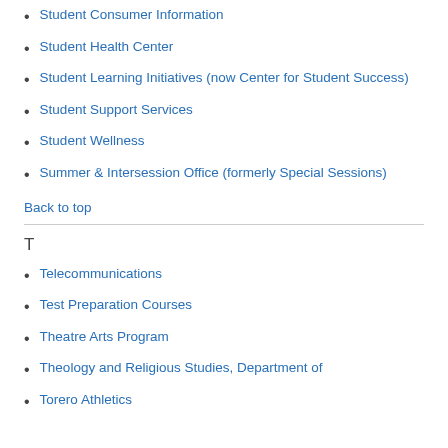Student Consumer Information
Student Health Center
Student Learning Initiatives (now Center for Student Success)
Student Support Services
Student Wellness
Summer & Intersession Office (formerly Special Sessions)
Back to top
T
Telecommunications
Test Preparation Courses
Theatre Arts Program
Theology and Religious Studies, Department of
Torero Athletics